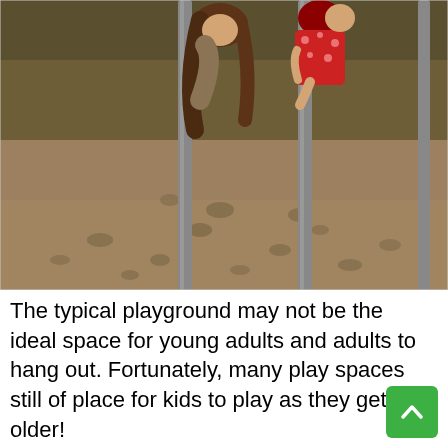[Figure (photo): Children playing on playground equipment surrounded by sandy ground. Two girls are visible near metal poles, one hanging or leaning on a pole wearing a red patterned dress, and another with long brown hair. The ground is covered in textured sand with footprints visible.]
The typical playground may not be the ideal space for young adults and adults to hang out. Fortunately, many play spaces still of place for kids to play as they get older!